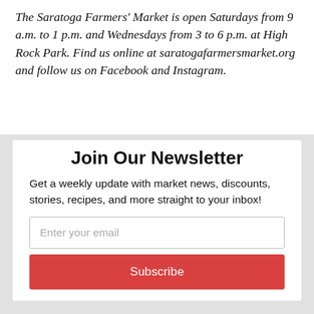The Saratoga Farmers' Market is open Saturdays from 9 a.m. to 1 p.m. and Wednesdays from 3 to 6 p.m. at High Rock Park. Find us online at saratogafarmersmarket.org and follow us on Facebook and Instagram.
Join Our Newsletter
Get a weekly update with market news, discounts, stories, recipes, and more straight to your inbox!